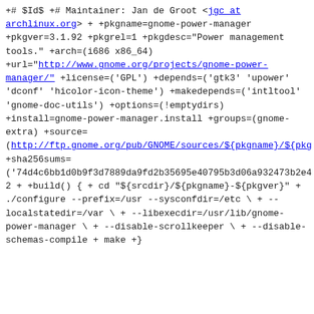+# $Id$
+# Maintainer: Jan de Groot <jgc at archlinux.org>
+
+pkgname=gnome-power-manager
+pkgver=3.1.92
+pkgrel=1
+pkgdesc="Power management tools."
+arch=(i686 x86_64)
+url="http://www.gnome.org/projects/gnome-power-manager/"
+license=('GPL')
+depends=('gtk3' 'upower' 'dconf' 'hicolor-icon-theme')
+makedepends=('intltool' 'gnome-doc-utils')
+options=(!emptydirs)
+install=gnome-power-manager.install
+groups=(gnome-extra)
+source=
(http://ftp.gnome.org/pub/GNOME/sources/${pkgname}/${pkgv
+sha256sums=
('74d4c6bb1d0b9f3d7889da9fd2b35695e40795b3d06a932473b2e42
+
+build() {
+  cd "${srcdir}/${pkgname}-${pkgver}"
+  ./configure --prefix=/usr --sysconfdir=/etc \
+        --localstatedir=/var \
+        --libexecdir=/usr/lib/gnome-power-manager \
+        --disable-scrollkeeper \
+        --disable-schemas-compile
+  make
+}